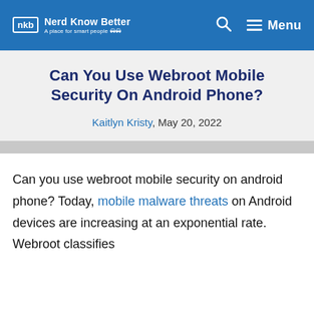nkb Nerd Know Better — A place for smart people | Search | Menu
Can You Use Webroot Mobile Security On Android Phone?
Kaitlyn Kristy, May 20, 2022
Can you use webroot mobile security on android phone? Today, mobile malware threats on Android devices are increasing at an exponential rate. Webroot classifies